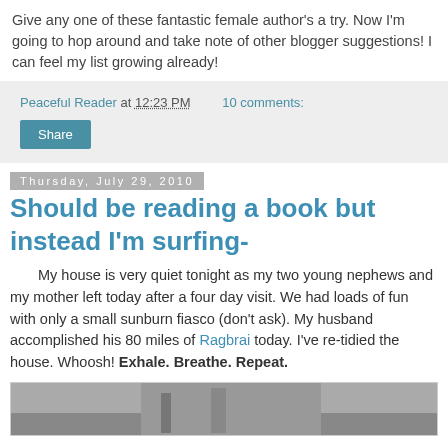Give any one of these fantastic female author's a try. Now I'm going to hop around and take note of other blogger suggestions!  I can feel my list growing already!
Peaceful Reader at 12:23 PM   10 comments:
Share
Thursday, July 29, 2010
Should be reading a book but instead I'm surfing-
My house is very quiet tonight as my two young nephews and my mother left today after a four day visit.  We had loads of fun with only a small sunburn fiasco (don't ask).  My husband accomplished his 80 miles of Ragbrai today.  I've re-tidied the house.  Whoosh!  Exhale.  Breathe.  Repeat.
[Figure (photo): Partial photo at bottom of page, appears to show an outdoor scene]